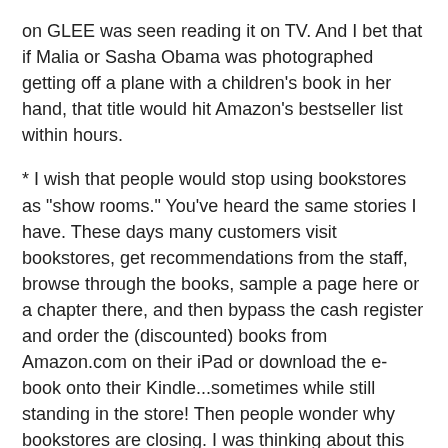on GLEE was seen reading it on TV. And I bet that if Malia or Sasha Obama was photographed getting off a plane with a children's book in her hand, that title would hit Amazon's bestseller list within hours.
* I wish that people would stop using bookstores as "show rooms." You've heard the same stories I have. These days many customers visit bookstores, get recommendations from the staff, browse through the books, sample a page here or a chapter there, and then bypass the cash register and order the (discounted) books from Amazon.com on their iPad or download the e-book onto their Kindle...sometimes while still standing in the store! Then people wonder why bookstores are closing. I was thinking about this the other day, and remembered something from my youth in the early 1970s. That was the era when "adult" books and magazines were becoming more mainstream and many bookstores didn't know what to do with this material. They couldn't put them on display with all the other magazines; even the covers contained X-rated images. And how to keep curious kids from looking at (not to mention swiping) them? The solution was to have a separate "closed" area for adults only. One